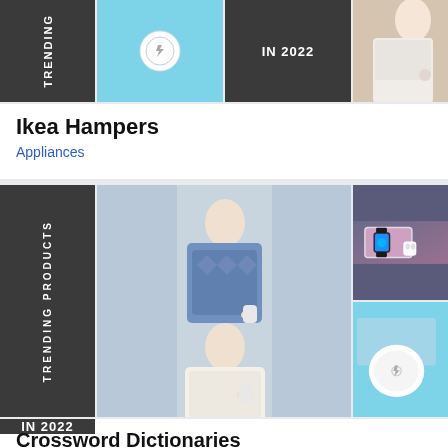[Figure (photo): Top banner collage: dark panel with 'TRENDING' text rotated, wireless charger on blue background, dark panel with 'IN 2022' text, person holding small device]
Ikea Hampers
Appliances
[Figure (photo): Bottom collage: dark panel with 'TRENDING PRODUCTS' rotated text, Apple Watch and AirPods charging pad image, wireless charger on blue, dark panel with 'IN 2022', woman in sweater holding device]
Crossword Dictionaries
Appli...